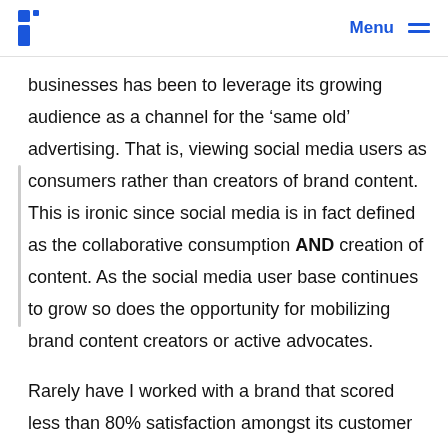Menu
businesses has been to leverage its growing audience as a channel for the ‘same old’ advertising. That is, viewing social media users as consumers rather than creators of brand content. This is ironic since social media is in fact defined as the collaborative consumption AND creation of content. As the social media user base continues to grow so does the opportunity for mobilizing brand content creators or active advocates.
Rarely have I worked with a brand that scored less than 80% satisfaction amongst its customer base. Being involved in hundreds of customer experience